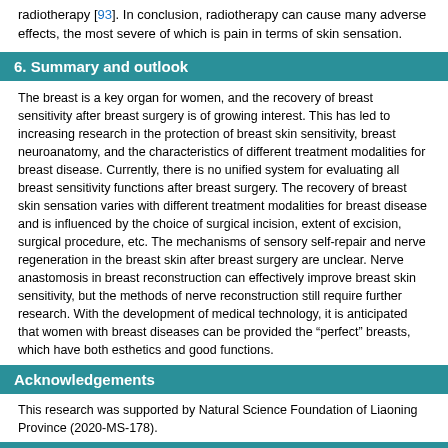radiotherapy [93]. In conclusion, radiotherapy can cause many adverse effects, the most severe of which is pain in terms of skin sensation.
6. Summary and outlook
The breast is a key organ for women, and the recovery of breast sensitivity after breast surgery is of growing interest. This has led to increasing research in the protection of breast skin sensitivity, breast neuroanatomy, and the characteristics of different treatment modalities for breast disease. Currently, there is no unified system for evaluating all breast sensitivity functions after breast surgery. The recovery of breast skin sensation varies with different treatment modalities for breast disease and is influenced by the choice of surgical incision, extent of excision, surgical procedure, etc. The mechanisms of sensory self-repair and nerve regeneration in the breast skin after breast surgery are unclear. Nerve anastomosis in breast reconstruction can effectively improve breast skin sensitivity, but the methods of nerve reconstruction still require further research. With the development of medical technology, it is anticipated that women with breast diseases can be provided the “perfect” breasts, which have both esthetics and good functions.
Acknowledgements
This research was supported by Natural Science Foundation of Liaoning Province (2020-MS-178).
Abbreviation
LDM: Latissimus dorsi; DIEP: Deep inferior epigastric perforator; TRAM: Transverse rectus abdominis muscle; TP: Internal; TAP: Thoracodorsal; LH: